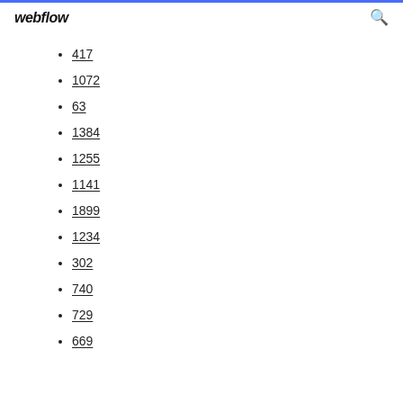webflow
417
1072
63
1384
1255
1141
1899
1234
302
740
729
669